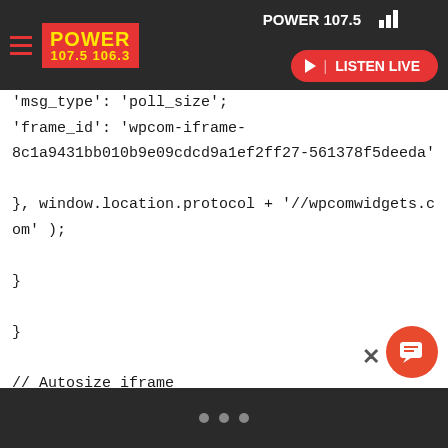[Figure (screenshot): Navigation bar with hamburger menu, Power 107.5 logo in red/yellow, station name 'POWER 107.5', bar chart icon, and a red 'LISTEN LIVE' button with play triangle.]
'msg_type': 'poll_size',
'frame_id': 'wpcom-iframe-8c1a9431bb010b9e09cdcd9a1ef2ff27-561378f5deeda'
}, window.location.protocol + '//wpcomwidgets.com' );
}
}
// Autosize iframe
var funcSizeResponse = function( e ) {
var origin = document.createElement( 'a' );